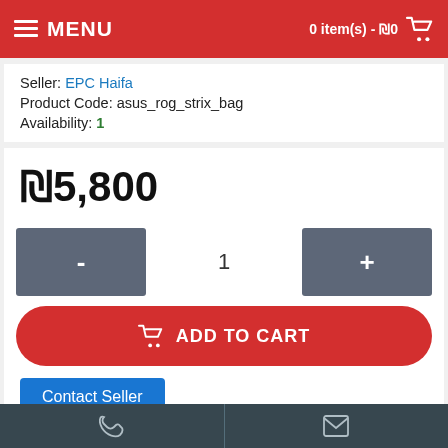MENU   0 item(s) - ₪0
Seller: EPC Haifa
Product Code: asus_rog_strix_bag
Availability: 1
₪5,800
- 1 +
ADD TO CART
Contact Seller
♥ Add to Wish List   ↻ Compare this Product
0 reviews / Write a review